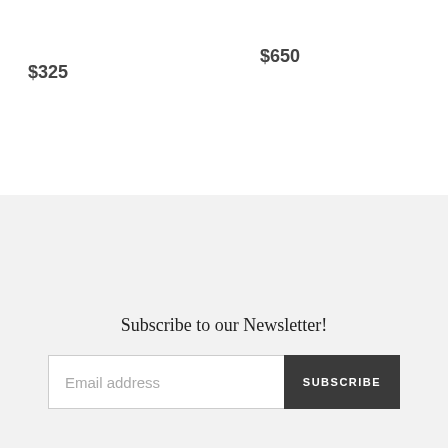$325
$650
Subscribe to our Newsletter!
Email address
SUBSCRIBE